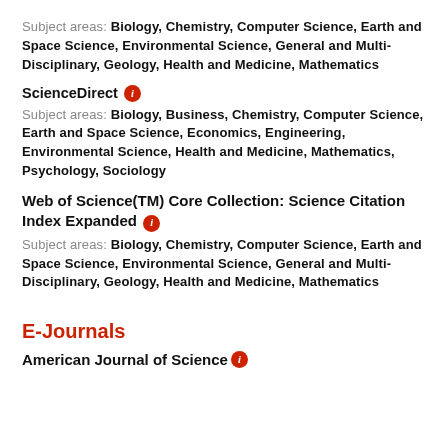Subject areas: Biology, Chemistry, Computer Science, Earth and Space Science, Environmental Science, General and Multi-Disciplinary, Geology, Health and Medicine, Mathematics
ScienceDirect
Subject areas: Biology, Business, Chemistry, Computer Science, Earth and Space Science, Economics, Engineering, Environmental Science, Health and Medicine, Mathematics, Psychology, Sociology
Web of Science(TM) Core Collection: Science Citation Index Expanded
Subject areas: Biology, Chemistry, Computer Science, Earth and Space Science, Environmental Science, General and Multi-Disciplinary, Geology, Health and Medicine, Mathematics
E-Journals
American Journal of Science